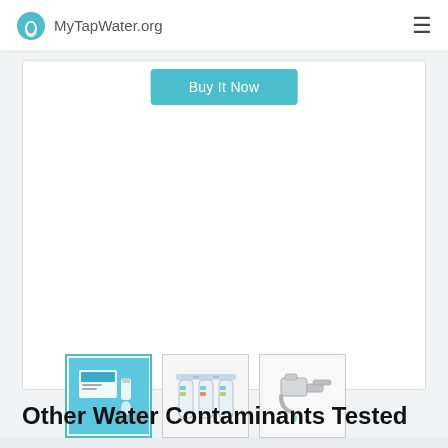MyTapWater.org
[Figure (screenshot): Product card with Buy It Now button and three product thumbnail images below: first thumbnail (selected/highlighted in teal border) shows a water test kit package on blue background; second thumbnail shows a three-canister under-sink water filter system; third thumbnail shows a chrome faucet-mount water filter attached to a faucet.]
Other Water Contaminants Tested